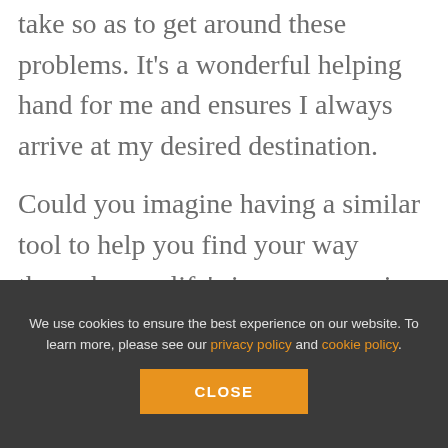recalculate another route for me to take so as to get around these problems. It's a wonderful helping hand for me and ensures I always arrive at my desired destination.
Could you imagine having a similar tool to help you find your way through your life's journey ensuring you always stay on track heading in the direction of your dreams?
We use cookies to ensure the best experience on our website. To learn more, please see our privacy policy and cookie policy.
CLOSE